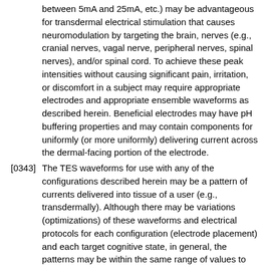between 5mA and 25mA, etc.) may be advantageous for transdermal electrical stimulation that causes neuromodulation by targeting the brain, nerves (e.g., cranial nerves, vagal nerve, peripheral nerves, spinal nerves), and/or spinal cord. To achieve these peak intensities without causing significant pain, irritation, or discomfort in a subject may require appropriate electrodes and appropriate ensemble waveforms as described herein. Beneficial electrodes may have pH buffering properties and may contain components for uniformly (or more uniformly) delivering current across the dermal-facing portion of the electrode.
[0343] The TES waveforms for use with any of the configurations described herein may be a pattern of currents delivered into tissue of a user (e.g., transdermally). Although there may be variations (optimizations) of these waveforms and electrical protocols for each configuration (electrode placement) and each target cognitive state, in general, the patterns may be within the same range of values to provide biphasic, high-intensity,